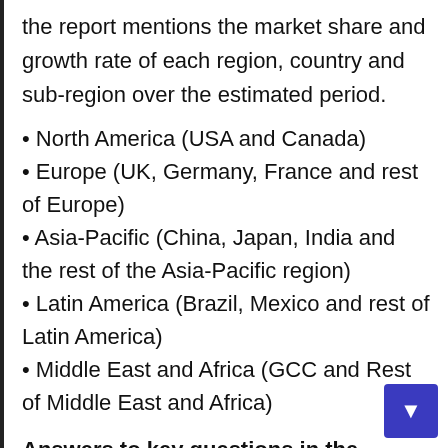the report mentions the market share and growth rate of each region, country and sub-region over the estimated period.
• North America (USA and Canada)
• Europe (UK, Germany, France and rest of Europe)
• Asia-Pacific (China, Japan, India and the rest of the Asia-Pacific region)
• Latin America (Brazil, Mexico and rest of Latin America)
• Middle East and Africa (GCC and Rest of Middle East and Africa)
Answers to key questions in the report: